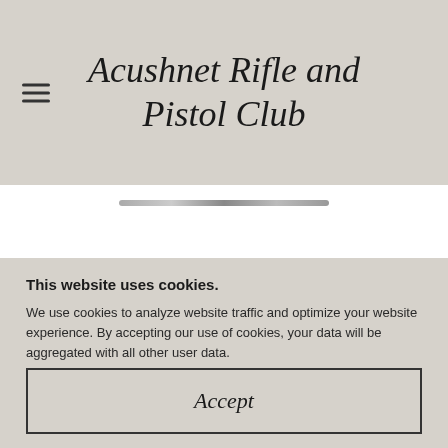Acushnet Rifle and Pistol Club
This website uses cookies.
We use cookies to analyze website traffic and optimize your website experience. By accepting our use of cookies, your data will be aggregated with all other user data.
Accept